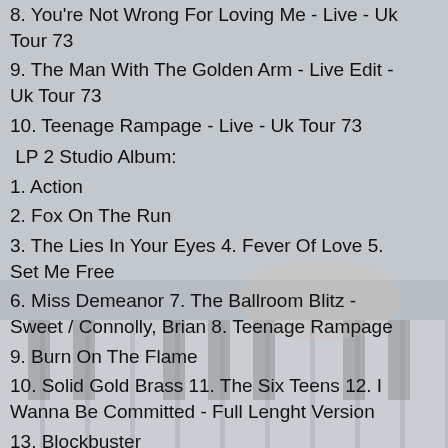8. You're Not Wrong For Loving Me - Live - Uk Tour 73
9. The Man With The Golden Arm - Live Edit - Uk Tour 73
10. Teenage Rampage - Live - Uk Tour 73
LP 2 Studio Album:
1. Action
2. Fox On The Run
3. The Lies In Your Eyes 4. Fever Of Love 5. Set Me Free
6. Miss Demeanor 7. The Ballroom Blitz - Sweet / Connolly, Brian 8. Teenage Rampage
9. Burn On The Flame
10. Solid Gold Brass 11. The Six Teens 12. I Wanna Be Committed - Full Lenght Version
13. Blockbuster
14. Hell Raiser - Sweet / Connolly, Brian.